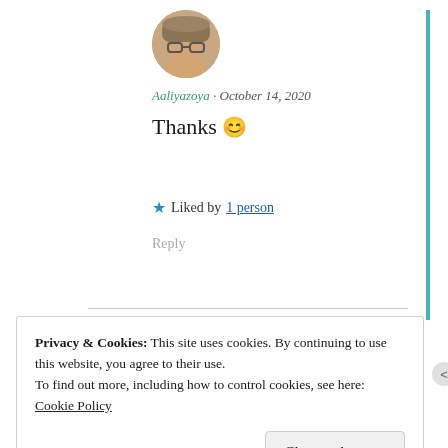[Figure (photo): Round avatar photo of a person wearing a hat and glasses]
Aaliyazoya · October 14, 2020
Thanks 😊
★ Liked by 1 person
Reply
Privacy & Cookies: This site uses cookies. By continuing to use this website, you agree to their use.
To find out more, including how to control cookies, see here: Cookie Policy
Close and accept